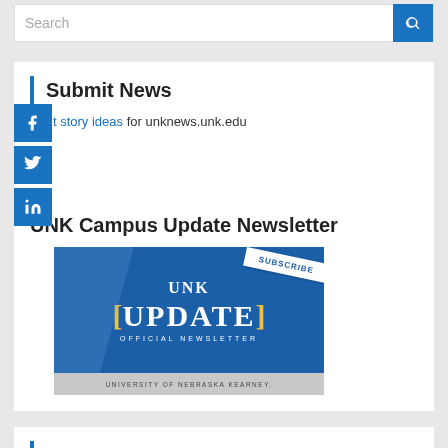Search
Submit News
Submit story ideas for unknews.unk.edu
UNK Campus Update Newsletter
[Figure (illustration): UNK Campus Update Newsletter banner image showing 'UNK UPDATE OFFICIAL NEWSLETTER UNIVERSITY OF NEBRASKA KEARNEY' with a Subscribe ribbon in the top right corner on a blue background.]